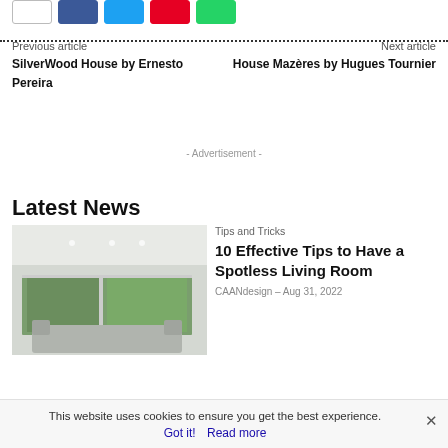[Figure (other): Social share buttons row: count button, Facebook, Twitter, Pinterest, WhatsApp]
Previous article
SilverWood House by Ernesto Pereira
Next article
House Mazères by Hugues Tournier
- Advertisement -
Latest News
[Figure (photo): Interior photo of a modern white living room with large windows and greenery outside]
Tips and Tricks
10 Effective Tips to Have a Spotless Living Room
CAANdesign – Aug 31, 2022
This website uses cookies to ensure you get the best experience.
Got it!  Read more